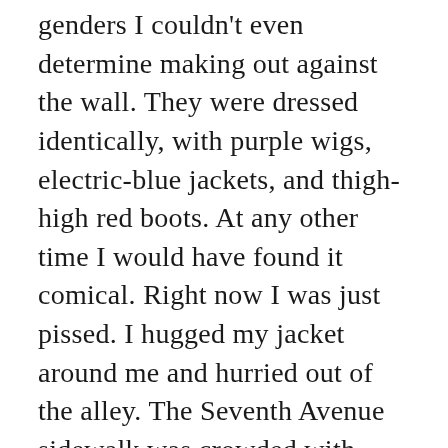genders I couldn't even determine making out against the wall. They were dressed identically, with purple wigs, electric-blue jackets, and thigh-high red boots. At any other time I would have found it comical. Right now I was just pissed. I hugged my jacket around me and hurried out of the alley. The Seventh Avenue sidewalk was crowded with concertgoers and roving packs of glam rockers, even though the concert was long over. Normally I'd go over to 34th to walk on the busier—and therefore safer—road, but right then I was too mad to care. I turned and stalked for half a block on 32nd Street, fuming, about my advisor, about my ketchup-stained shirt, about everything, but then something very insistent caught my attention. The slippery, round nub of glass in my panties.